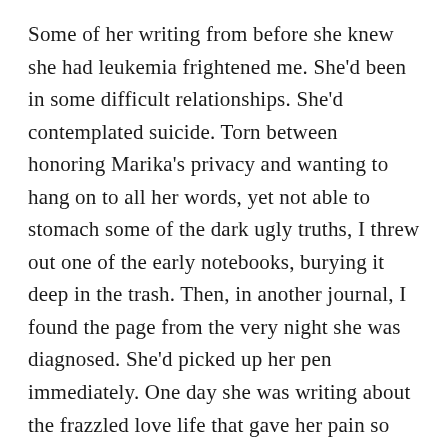Some of her writing from before she knew she had leukemia frightened me. She'd been in some difficult relationships. She'd contemplated suicide. Torn between honoring Marika's privacy and wanting to hang on to all her words, yet not able to stomach some of the dark ugly truths, I threw out one of the early notebooks, burying it deep in the trash. Then, in another journal, I found the page from the very night she was diagnosed. She'd picked up her pen immediately. One day she was writing about the frazzled love life that gave her pain so great she wasn't sure she could go on living. And that night, in one turn of a page, she wrote about her leukemia. All the things I wish we had talked about, all the conversations we should have had—she wrote.